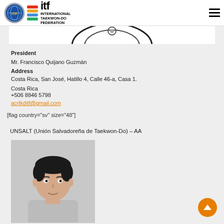International Taekwon-Do Federation
President
Mr. Francisco Quijano Guzmán
Address
Costa Rica, San José, Hatillo 4, Calle 46-a, Casa 1.
Costa Rica
+506 8846 5798
acrtkditf@gmail.com
[flag country="sv" size="48"]
UNSALT (Unión Salvadoreña de Taekwon-Do) – AA
[Figure (photo): Portrait photo of a person]